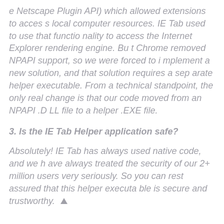e Netscape Plugin API) which allowed extensions to access local computer resources. IE Tab used to use that functionality to access the Internet Explorer rendering engine. But Chrome removed NPAPI support, so we were forced to implement a new solution, and that solution requires a separate helper executable. From a technical standpoint, the only real change is that our code moved from an NPAPI .DLL file to a helper .EXE file.
3. Is the IE Tab Helper application safe?
Absolutely! IE Tab has always used native code, and we have always treated the security of our 2+ million users very seriously. So you can rest assured that this helper executable is secure and trustworthy.